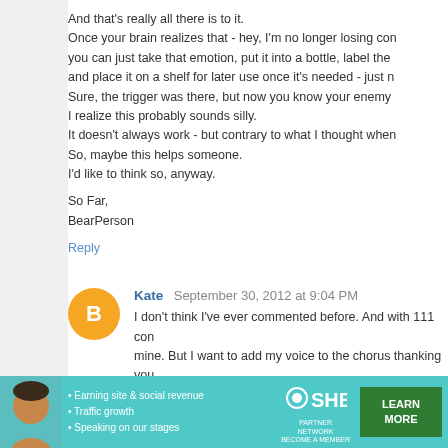And that's really all there is to it.
Once your brain realizes that - hey, I'm no longer losing con you can just take that emotion, put it into a bottle, label the and place it on a shelf for later use once it's needed - just n Sure, the trigger was there, but now you know your enemy

I realize this probably sounds silly.
It doesn't always work - but contrary to what I thought when So, maybe this helps someone.
I'd like to think so, anyway.
So Far,
BearPerson
Reply
Kate  September 30, 2012 at 9:04 PM
I don't think I've ever commented before. And with 111 con mine. But I want to add my voice to the chorus thanking you

Three years ago, I couldn't drive. I was ok riding in a car, b driver had gradually morphed over time into A Thing. A Thin

It joined a list that included Making Phone Calls To S
[Figure (other): Advertisement banner for SHE Partner Network featuring a woman's photo, bullet points about earning site & social revenue, traffic growth, speaking on our stages, SHE logo, and a Learn More button]